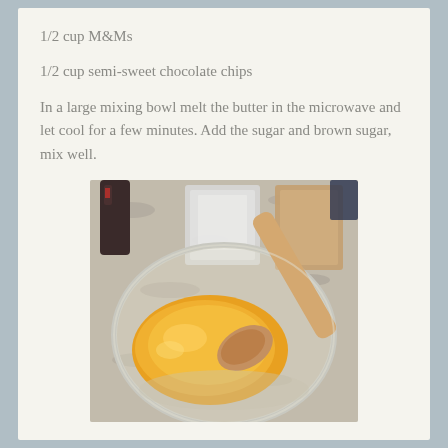1/2 cup M&Ms
1/2 cup semi-sweet chocolate chips
In a large mixing bowl melt the butter in the microwave and let cool for a few minutes. Add the sugar and brown sugar, mix well.
[Figure (photo): A glass mixing bowl on a granite countertop containing melted yellow butter with a wooden spoon. Behind the bowl are containers of sugar and brown sugar, and a dark bottle in the background.]